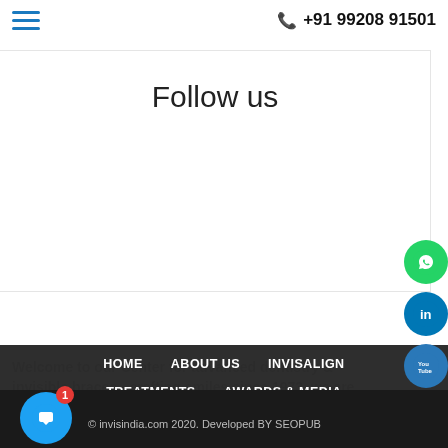+91 99208 91501
Follow us
Welcome to our Center for advanced dentistry & invisible braces - crafting smiles since 1973, we are online and ready to help
HOME
ABOUT US
INVISALIGN
TREATMENTS
AWARDS & MEDIA
BEFORE & AFTER
BLOG
CONTACT US
© invisindia.com 2020. Developed BY SEOPUB